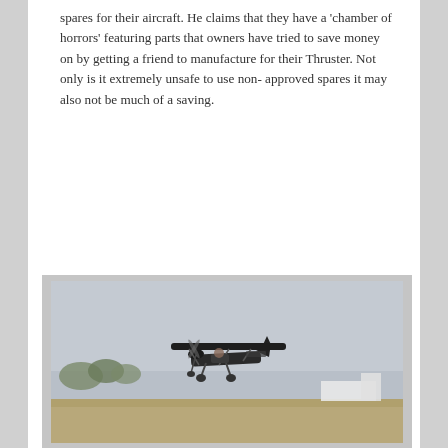spares for their aircraft. He claims that they have a 'chamber of horrors' featuring parts that owners have tried to save money on by getting a friend to manufacture for their Thruster. Not only is it extremely unsafe to use non-approved spares it may also not be much of a saving.
[Figure (photo): A dark-colored ultralight / microlight aircraft (Thruster) in flight or just above ground level at an airfield. The aircraft has a high-wing configuration with visible struts and tricycle landing gear. A pilot is visible in the open cockpit. The background shows a flat airfield with a white building and trees under an overcast grey sky.]